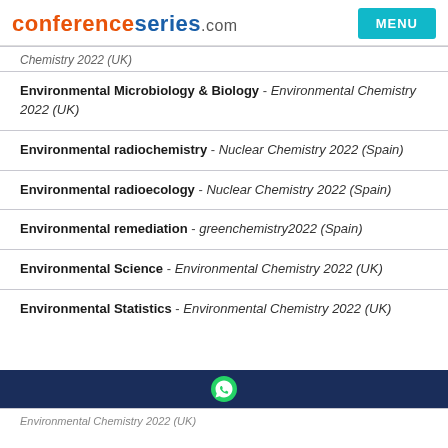conferenceseries.com   MENU
Chemistry 2022 (UK)
Environmental Microbiology & Biology - Environmental Chemistry 2022 (UK)
Environmental radiochemistry - Nuclear Chemistry 2022 (Spain)
Environmental radioecology - Nuclear Chemistry 2022 (Spain)
Environmental remediation - greenchemistry2022 (Spain)
Environmental Science - Environmental Chemistry 2022 (UK)
Environmental Statistics - Environmental Chemistry 2022 (UK)
Environmental Chemistry 2022 (UK)